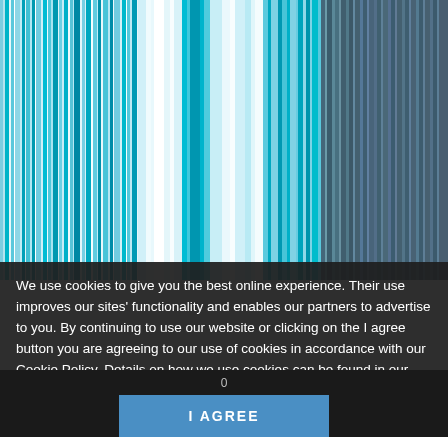[Figure (illustration): Abstract vertical striped pattern in shades of blue, teal, cyan, white, and dark teal/grey, resembling motion blur or a barcode-like graphic]
We use cookies to give you the best online experience. Their use improves our sites' functionality and enables our partners to advertise to you. By continuing to use our website or clicking on the I agree button you are agreeing to our use of cookies in accordance with our Cookie Policy. Details on how we use cookies can be found in our Cookie Policy
I AGREE